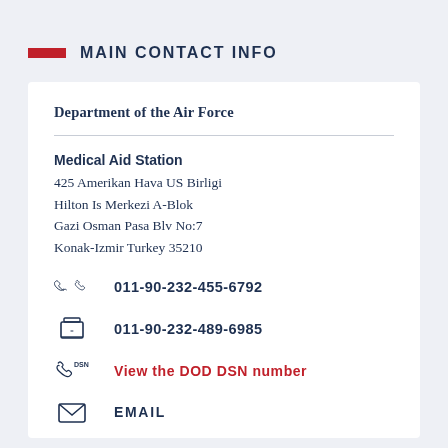MAIN CONTACT INFO
Department of the Air Force
Medical Aid Station
425 Amerikan Hava US Birligi
Hilton Is Merkezi A-Blok
Gazi Osman Pasa Blv No:7
Konak-Izmir Turkey 35210
011-90-232-455-6792
011-90-232-489-6985
View the DOD DSN number
EMAIL